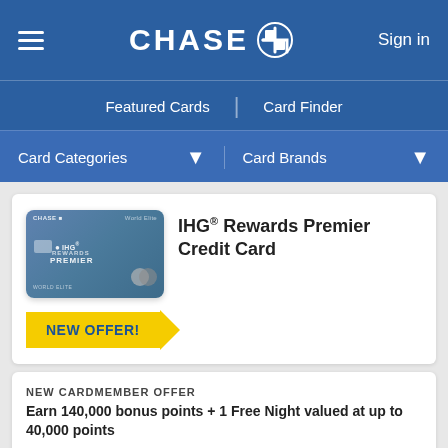CHASE — Sign in
Featured Cards | Card Finder
Card Categories ▾   Card Brands ▾
[Figure (photo): IHG Rewards Premier Credit Card product image — teal/blue card with IHG Rewards Premier branding and Mastercard logo]
IHG® Rewards Premier Credit Card
NEW OFFER!
NEW CARDMEMBER OFFER
Earn 140,000 bonus points + 1 Free Night valued at up to 40,000 points
After you spend $3,000 on purchases in the first 3 months from account opening.